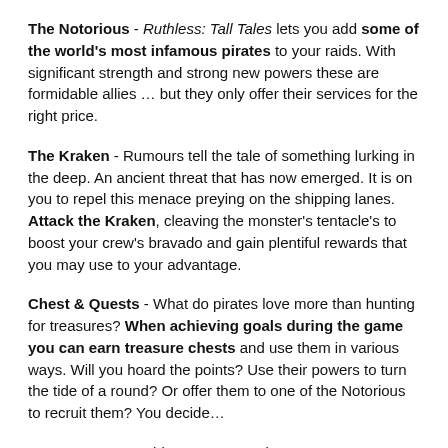The Notorious - Ruthless: Tall Tales lets you add some of the world's most infamous pirates to your raids. With significant strength and strong new powers these are formidable allies … but they only offer their services for the right price.
The Kraken - Rumours tell the tale of something lurking in the deep. An ancient threat that has now emerged. It is on you to repel this menace preying on the shipping lanes. Attack the Kraken, cleaving the monster's tentacle's to boost your crew's bravado and gain plentiful rewards that you may use to your advantage.
Chest & Quests - What do pirates love more than hunting for treasures? When achieving goals during the game you can earn treasure chests and use them in various ways. Will you hoard the points? Use their powers to turn the tide of a round? Or offer them to one of the Notorious to recruit them? You decide…
New Powers - Ruthless gave you nine powers. Now Ruthless: Tall Tales adds five new powers to shake up your game.